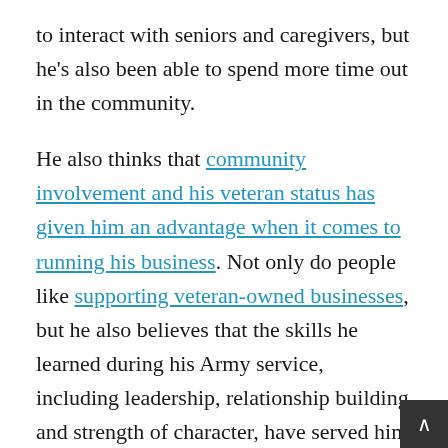to interact with seniors and caregivers, but he's also been able to spend more time out in the community.
He also thinks that community involvement and his veteran status has given him an advantage when it comes to running his business. Not only do people like supporting veteran-owned businesses, but he also believes that the skills he learned during his Army service, including leadership, relationship building and strength of character, have served him well in business ownership.
Bruck says, “Because of my background in the military I have the ability to do what has to be done and just not worry about the rest. I can keep going and just get things done. And that mentality has assisted me so much in